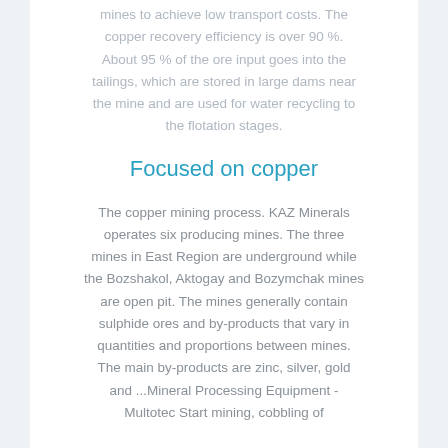mines to achieve low transport costs. The copper recovery efficiency is over 90 %. About 95 % of the ore input goes into the tailings, which are stored in large dams near the mine and are used for water recycling to the flotation stages.
Focused on copper
The copper mining process. KAZ Minerals operates six producing mines. The three mines in East Region are underground while the Bozshakol, Aktogay and Bozymchak mines are open pit. The mines generally contain sulphide ores and by-products that vary in quantities and proportions between mines. The main by-products are zinc, silver, gold and ...Mineral Processing Equipment - Multotec Start mining, cobbling of